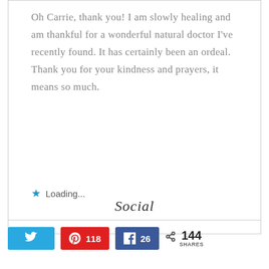Oh Carrie, thank you! I am slowly healing and am thankful for a wonderful natural doctor I’ve recently found. It has certainly been an ordeal. Thank you for your kindness and prayers, it means so much.
★ Loading...
Social
Twitter share button, Pinterest 118, Facebook 26, 144 SHARES